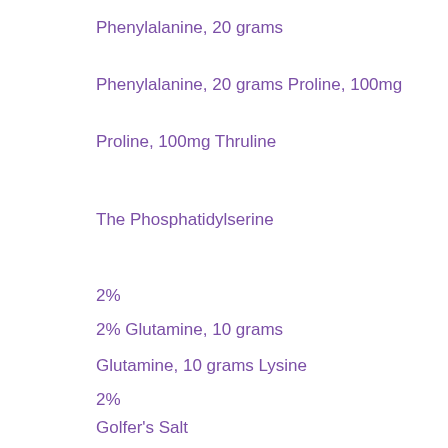Phenylalanine, 20 grams
Phenylalanine, 20 grams Proline, 100mg
Proline, 100mg Thruline
The Phosphatidylserine
2%
2% Glutamine, 10 grams
Glutamine, 10 grams Lysine
2%
Golfer's Salt
Calcium Citrate, 1000 mg